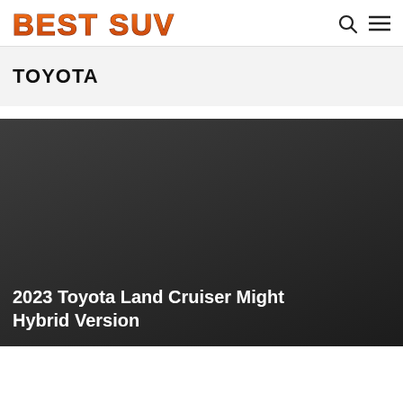BEST SUV
TOYOTA
[Figure (photo): Dark background image placeholder for a Toyota Land Cruiser article card]
2023 Toyota Land Cruiser Might Hybrid Version